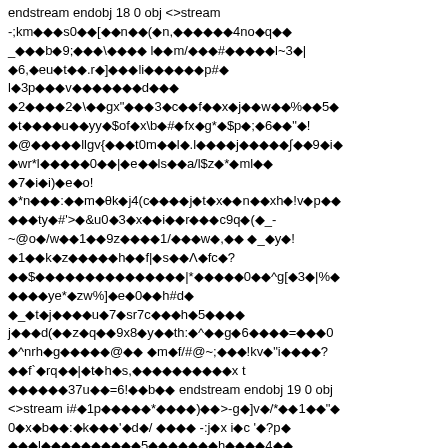endstream endobj 18 0 obj <>stream
-;km◆◆◆s0◆◆[◆◆n◆◆(◆n,◆◆◆◆◆◆4no◆q◆◆
_◆◆◆b◆9;◆◆◆\◆◆◆◆ l◆◆m/◆◆◆#◆◆◆◆◆l~3◆|
◆6,◆eu◆t◆◆.r◆]◆◆◆li◆◆◆◆◆◆p#◆
l◆3p◆◆◆v◆◆◆◆◆◆◆d◆◆◆
◆2◆◆◆◆2◆\◆◆gx"◆◆◆3◆c◆◆f◆◆x◆j◆◆w◆◆%◆◆5◆
◆t◆◆◆◆u◆◆yy◆$of◆x\b◆#◆fx◆g*◆$p◆;◆6◆◆"◆!
◆@◆◆◆◆◆llgv{◆◆◆t0m◆◆l◆.l◆◆◆◆j◆◆◆◆◆∫◆◆9◆i◆
◆wr*l◆◆◆◆◆0◆◆|◆e◆◆ls◆◆a/l$z◆*◆ml◆◆
◆7◆i◆i)◆e◆o!
◆*n◆◆◆:◆◆m◆θk◆j4(c◆◆◆◆j◆t◆x◆◆n◆◆xh◆!v◆p◆◆
◆◆◆ty◆#'>◆&u0◆3◆x◆◆i◆◆r◆◆◆c9q◆(◆_-
~@o◆/w◆◆1◆◆9z◆◆◆◆1/◆◆◆w◆,◆◆ ◆_◆y◆!
◆1◆◆k◆z◆◆◆◆◆h◆◆f|◆s◆◆/\◆fc◆?
◆◆$◆◆◆◆◆◆◆◆◆◆◆◆◆◆◆|*◆◆◆◆◆0◆◆^g[◆3◆|%◆
◆◆◆◆ye*◆zw%]◆e◆0◆◆h#d◆
◆_◆t◆j◆◆◆◆u◆7◆sr7c◆◆◆h◆5◆◆◆◆
j◆◆◆d(◆◆z◆q◆◆9x8◆y◆◆th:◆^◆◆g◆6◆◆◆◆=◆◆◆0
◆^nrh◆g◆◆◆◆◆@◆◆ ◆m◆f/#@~;◆◆◆!kv◆"i◆◆◆◆?
◆◆f`◆rq◆◆|◆t◆h◆s,◆◆◆◆◆◆◆◆◆◆x t
◆◆◆◆◆◆37u◆◆=6!◆◆b◆◆ endstream endobj 19 0 obj
<>stream i#◆1p◆◆◆◆◆*◆◆◆◆)◆◆>-g◆]v◆/*◆◆1◆◆"◆
0◆x◆b◆◆:◆k◆◆◆'◆d◆/ ◆◆◆◆ -:j◆x i◆c '◆?p◆
◆◆◆l◆◆◆◆◆◆...◆◆◆◆5◆◆◆◆◆◆◆h◆◆◆◆4◆◆